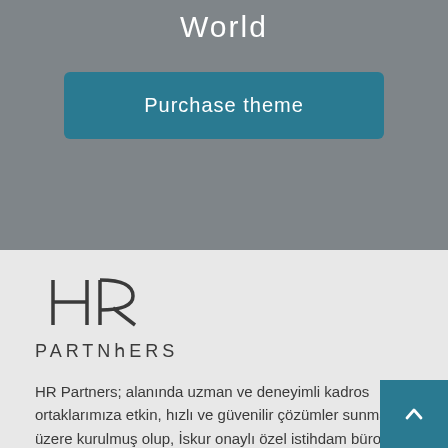World
[Figure (other): Purchase theme button — a teal rounded rectangle with white text 'Purchase theme']
[Figure (logo): HR Partners logo: stylized HR lettermark above PARTNERS text]
HR Partners; alanında uzman ve deneyimli kadros ortaklarımıza etkin, hızlı ve güvenilir çözümler sunmak uzere kurulmuş olup, İskur onaylı özel istihdam bürosu olarak